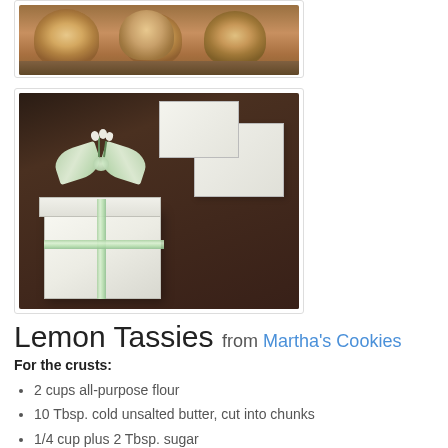[Figure (photo): Close-up photo of lemon tassie pastries on a wooden surface]
[Figure (photo): White gift boxes tied with a pale green satin ribbon and small white flowers]
Lemon Tassies from Martha's Cookies
For the crusts:
2 cups all-purpose flour
10 Tbsp. cold unsalted butter, cut into chunks
1/4 cup plus 2 Tbsp. sugar